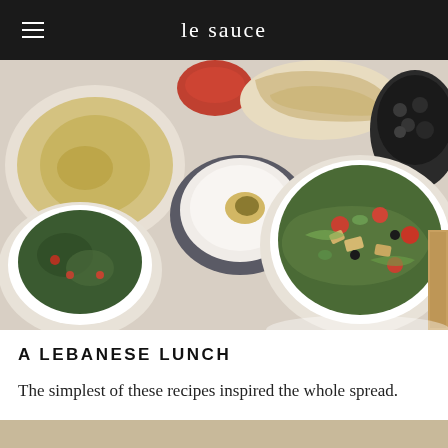le sauce
[Figure (photo): Overhead shot of a Lebanese lunch spread: bowls of hummus, labneh with zaatar, tabbouleh salad, fattoush salad, pita bread, olives, and small carafes of olive oil on a white table.]
A LEBANESE LUNCH
The simplest of these recipes inspired the whole spread.